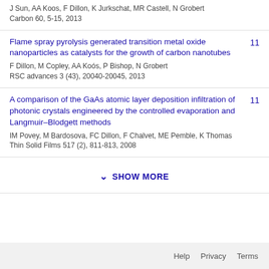J Sun, AA Koos, F Dillon, K Jurkschat, MR Castell, N Grobert
Carbon 60, 5-15, 2013
Flame spray pyrolysis generated transition metal oxide nanoparticles as catalysts for the growth of carbon nanotubes
F Dillon, M Copley, AA Koós, P Bishop, N Grobert
RSC advances 3 (43), 20040-20045, 2013
11
A comparison of the GaAs atomic layer deposition infiltration of photonic crystals engineered by the controlled evaporation and Langmuir–Blodgett methods
IM Povey, M Bardosova, FC Dillon, F Chalvet, ME Pemble, K Thomas
Thin Solid Films 517 (2), 811-813, 2008
11
SHOW MORE
Help  Privacy  Terms